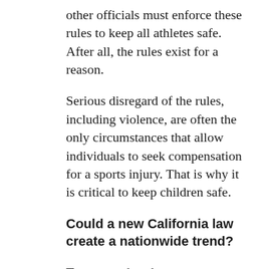other officials must enforce these rules to keep all athletes safe. After all, the rules exist for a reason.
Serious disregard of the rules, including violence, are often the only circumstances that allow individuals to seek compensation for a sports injury. That is why it is critical to keep children safe.
Could a new California law create a nationwide trend?
Tennessee does have a sports concussion law to help reduce TBIs and other head injuries in youth sports. It focuses on increasing awareness of the signs, symptoms and prevention